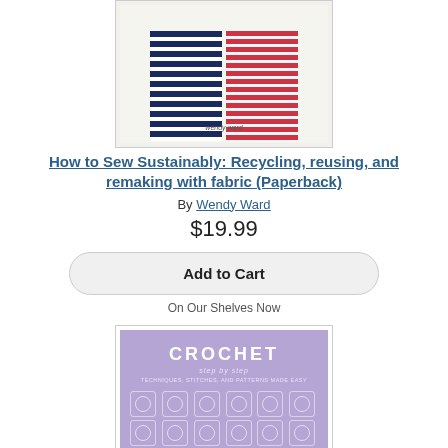[Figure (photo): Book cover of 'How to Sew Sustainably' by Wendy Ward, showing navy and red striped fabric panels]
How to Sew Sustainably: Recycling, reusing, and remaking with fabric (Paperback)
By Wendy Ward
$19.99
Add to Cart
On Our Shelves Now
[Figure (photo): Book cover of 'Crochet Step by Step: Techniques, Stitches, and Patterns Made Easy (DK Step by Step)' with lavender cover and crochet square grid pattern]
Crochet Step by Step: Techniques, Stitches, and Patterns Made Easy (DK Step by Step) (Paperback)